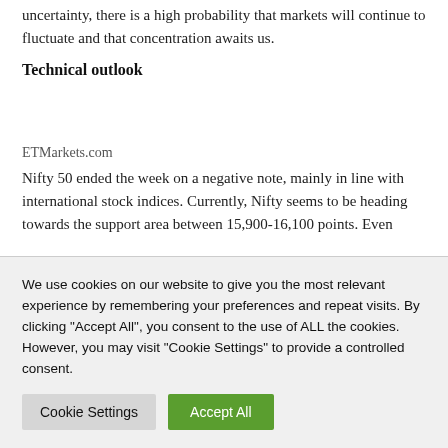uncertainty, there is a high probability that markets will continue to fluctuate and that concentration awaits us.
Technical outlook
ETMarkets.com
Nifty 50 ended the week on a negative note, mainly in line with international stock indices. Currently, Nifty seems to be heading towards the support area between 15,900-16,100 points. Even
We use cookies on our website to give you the most relevant experience by remembering your preferences and repeat visits. By clicking "Accept All", you consent to the use of ALL the cookies. However, you may visit "Cookie Settings" to provide a controlled consent.